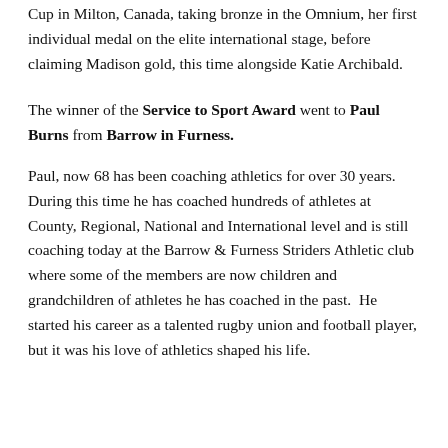Cup in Milton, Canada, taking bronze in the Omnium, her first individual medal on the elite international stage, before claiming Madison gold, this time alongside Katie Archibald.
The winner of the Service to Sport Award went to Paul Burns from Barrow in Furness.
Paul, now 68 has been coaching athletics for over 30 years. During this time he has coached hundreds of athletes at County, Regional, National and International level and is still coaching today at the Barrow & Furness Striders Athletic club where some of the members are now children and grandchildren of athletes he has coached in the past.  He started his career as a talented rugby union and football player, but it was his love of athletics shaped his life.